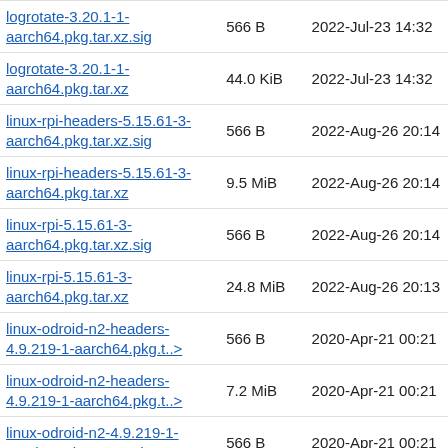| Name | Size | Date |
| --- | --- | --- |
| logrotate-3.20.1-1-aarch64.pkg.tar.xz.sig | 566 B | 2022-Jul-23 14:32 |
| logrotate-3.20.1-1-aarch64.pkg.tar.xz | 44.0 KiB | 2022-Jul-23 14:32 |
| linux-rpi-headers-5.15.61-3-aarch64.pkg.tar.xz.sig | 566 B | 2022-Aug-26 20:14 |
| linux-rpi-headers-5.15.61-3-aarch64.pkg.tar.xz | 9.5 MiB | 2022-Aug-26 20:14 |
| linux-rpi-5.15.61-3-aarch64.pkg.tar.xz.sig | 566 B | 2022-Aug-26 20:14 |
| linux-rpi-5.15.61-3-aarch64.pkg.tar.xz | 24.8 MiB | 2022-Aug-26 20:13 |
| linux-odroid-n2-headers-4.9.219-1-aarch64.pkg.t..> | 566 B | 2020-Apr-21 00:21 |
| linux-odroid-n2-headers-4.9.219-1-aarch64.pkg.t..> | 7.2 MiB | 2020-Apr-21 00:21 |
| linux-odroid-n2-4.9.219-1-aarch64.pkg.tar.xz.sig | 566 B | 2020-Apr-21 00:21 |
| linux-odroid-n2-4.9.219-1-aarch64.pkg.tar.xz | 24.7 MiB | 2020-Apr-21 00:19 |
| linux-odroid-c2-headers-3.16.85-1-aarch64.pkg.t..> | 566 B | 2020-Jul-06 00:56 |
| linux-odroid-c2-headers-3.16.85-1-aarch64.pkg.t..> |  | 2020-Jul-06 |